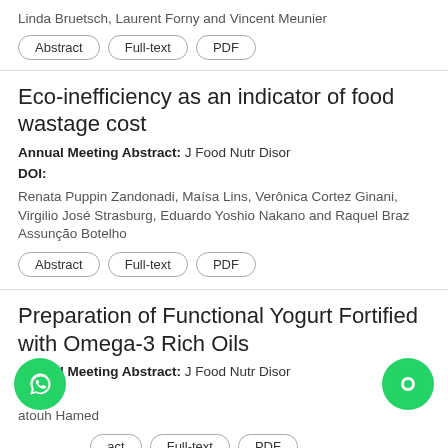Linda Bruetsch, Laurent Forny and Vincent Meunier
Abstract | Full-text | PDF
Eco-inefficiency as an indicator of food wastage cost
Annual Meeting Abstract: J Food Nutr Disor
DOI:
Renata Puppin Zandonadi, Maísa Lins, Verônica Cortez Ginani, Virgilio José Strasburg, Eduardo Yoshio Nakano and Raquel Braz Assunção Botelho
Abstract | Full-text | PDF
Preparation of Functional Yogurt Fortified with Omega-3 Rich Oils
Annual Meeting Abstract: J Food Nutr Disor
DOI:
atouh Hamed
act | Full-text | PDF
Dietary Prevention of Colorectal Cancer